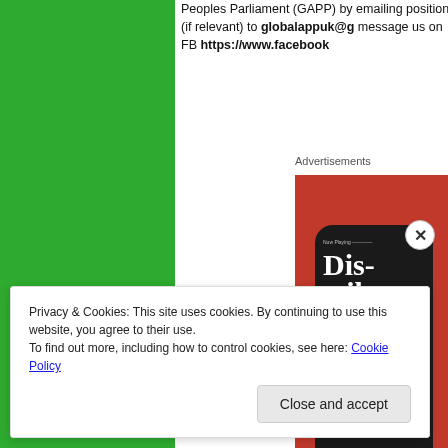Peoples Parliament (GAPP) by emailing position (if relevant) to globalappuk@g message us on FB https://www.facebook
Advertisements
[Figure (photo): Advertisement showing a smartphone with a podcast app displaying 'Dis-trib-uted' text on a red background]
Privacy & Cookies: This site uses cookies. By continuing to use this website, you agree to their use.
To find out more, including how to control cookies, see here: Cookie Policy
Close and accept